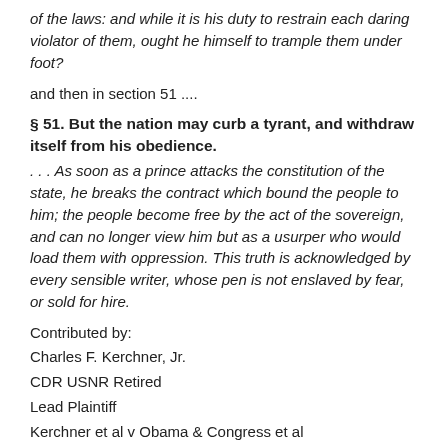of the laws: and while it is his duty to restrain each daring violator of them, ought he himself to trample them under foot?
and then in section 51 ....
§ 51. But the nation may curb a tyrant, and withdraw itself from his obedience.
. . . As soon as a prince attacks the constitution of the state, he breaks the contract which bound the people to him; the people become free by the act of the sovereign, and can no longer view him but as a usurper who would load them with oppression. This truth is acknowledged by every sensible writer, whose pen is not enslaved by fear, or sold for hire.
Contributed by:
Charles F. Kerchner, Jr.
CDR USNR Retired
Lead Plaintiff
Kerchner et al v Obama & Congress et al
Kerchner: On all citizens inalienable right to defend their liberty -- It is the inalienable right of all citizens of the nation to stand up and protect their liberty right and support and defend the